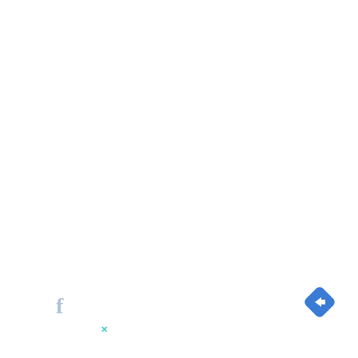[Figure (screenshot): A Google Maps or similar local listing UI snippet showing a Topgolf location info bar. Contains a Facebook icon (gray), a white card with a cyan play/ad icon, the Topgolf shield logo with 'TOPGOLF' text, a green checkmark with 'Dine-in', a red X with 'Delivery', and a blue diamond navigation arrow on the right.]